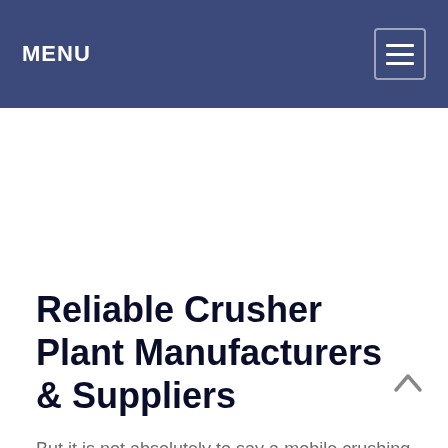MENU
Reliable Crusher Plant Manufacturers & Suppliers
But it is not absolutely to say a mobile crushing plant manufacturers is a bad choose. For small scale